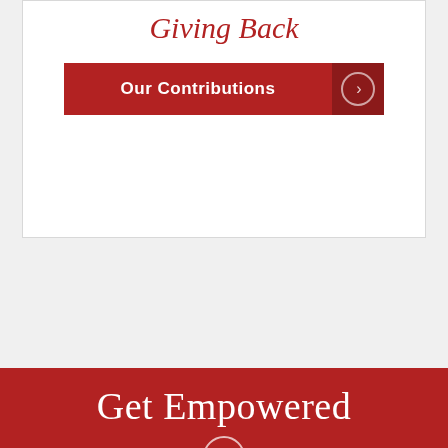Giving Back
[Figure (other): Our Contributions button with arrow icon]
Get Empowered
We put your medical and personal needs first and provide compassionate representation.
Name:
Email: